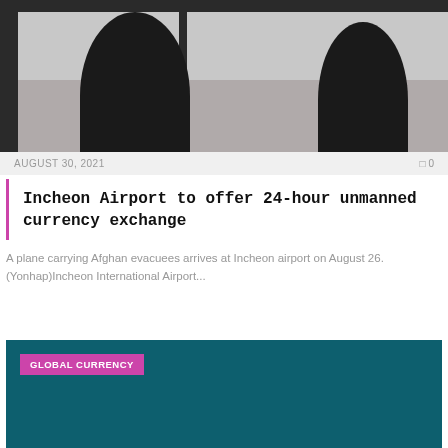[Figure (photo): Silhouetted figures at an airport terminal window with a tarmac and aircraft visible in the background]
AUGUST 30, 2021   0
Incheon Airport to offer 24-hour unmanned currency exchange
A plane carrying Afghan evacuees arrives at Incheon airport on August 26. (Yonhap)Incheon International Airport...
[Figure (photo): Dark teal background card with GLOBAL CURRENCY badge in pink/purple]